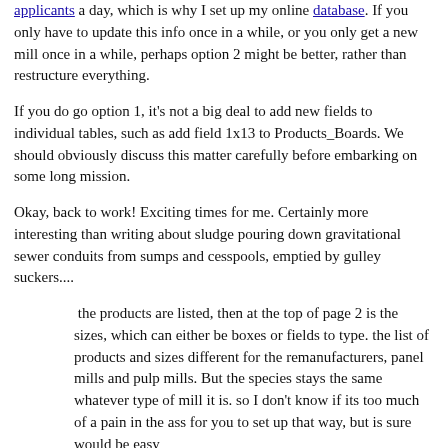applicants a day, which is why I set up my online database. If you only have to update this info once in a while, or you only get a new mill once in a while, perhaps option 2 might be better, rather than restructure everything.
If you do go option 1, it's not a big deal to add new fields to individual tables, such as add field 1x13 to Products_Boards. We should obviously discuss this matter carefully before embarking on some long mission.
Okay, back to work! Exciting times for me. Certainly more interesting than writing about sludge pouring down gravitational sewer conduits from sumps and cesspools, emptied by gulley suckers....
the products are listed, then at the top of page 2 is the sizes, which can either be boxes or fields to type. the list of products and sizes different for the remanufacturers, panel mills and pulp mills. But the species stays the same whatever type of mill it is. so I don't know if its too much of a pain in the ass for you to set up that way, but is sure would be easy